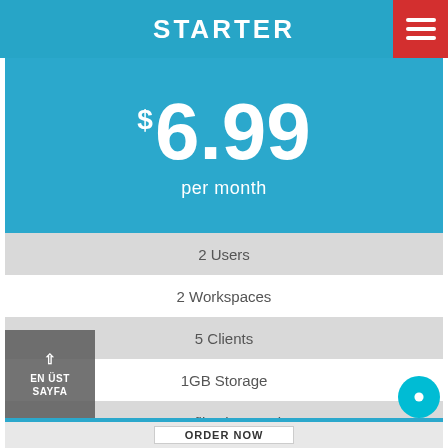STARTER
$6.99 per month
2 Users
2 Workspaces
5 Clients
1GB Storage
Max file size 10mb
–
–
EN ÜST SAYFA
ORDER NOW